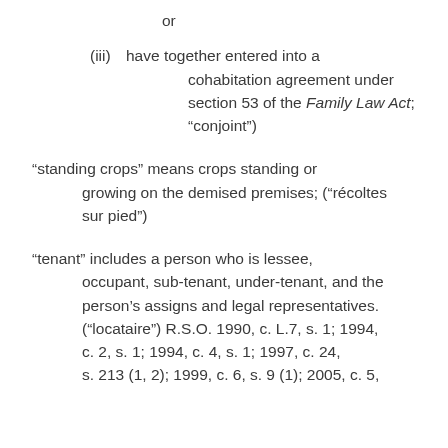or
(iii) have together entered into a cohabitation agreement under section 53 of the Family Law Act; (“conjoint”)
“standing crops” means crops standing or growing on the demised premises; (“récoltes sur pied”)
“tenant” includes a person who is lessee, occupant, sub-tenant, under-tenant, and the person’s assigns and legal representatives. (“locataire”) R.S.O. 1990, c. L.7, s. 1; 1994, c. 2, s. 1; 1994, c. 4, s. 1; 1997, c. 24, s. 213 (1, 2); 1999, c. 6, s. 9 (1); 2005, c. 5,